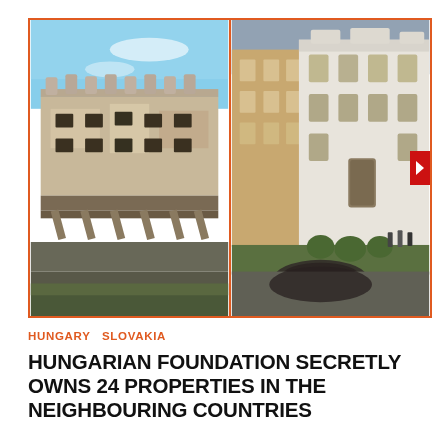[Figure (photo): Side-by-side photo collage of two historic European buildings separated by an orange vertical divider. Left photo shows a dilapidated baroque-style building with ornamental roofline statues under blue sky. Right photo shows a well-maintained classical European townhouse/palace facade with green topiary bushes and pedestrians, under overcast sky.]
HUNGARY  SLOVAKIA
HUNGARIAN FOUNDATION SECRETLY OWNS 24 PROPERTIES IN THE NEIGHBOURING COUNTRIES